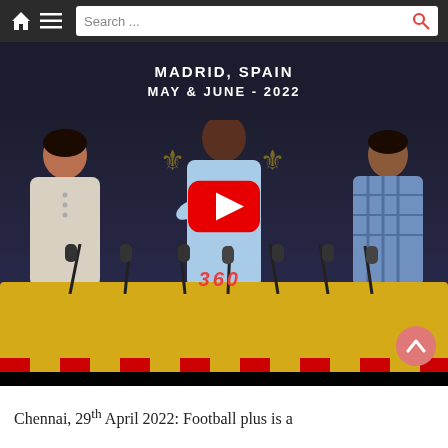Search ...
[Figure (screenshot): A press conference video thumbnail showing three people seated at a yellow-draped table with multiple microphones. A dark banner behind them reads 'MADRID, SPAIN' and 'MAY & JUNE - 2022'. A YouTube play button overlay is visible in the center. A '360' logo appears in red. The video is embedded in a webpage.]
Chennai, 29th April 2022: Football plus is a